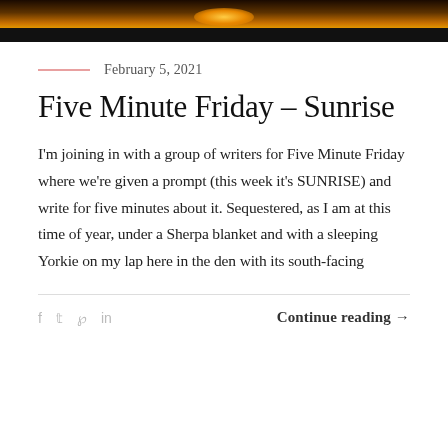[Figure (photo): Sunset or sunrise over water with orange and golden light on the horizon, dark silhouette of land or sea in foreground]
February 5, 2021
Five Minute Friday – Sunrise
I'm joining in with a group of writers for Five Minute Friday where we're given a prompt (this week it's SUNRISE) and write for five minutes about it. Sequestered, as I am at this time of year, under a Sherpa blanket and with a sleeping Yorkie on my lap here in the den with its south-facing
Continue reading →